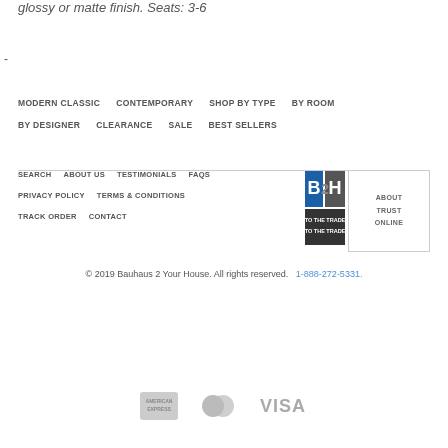glossy or matte finish. Seats: 3-6
-
MODERN CLASSIC   CONTEMPORARY   SHOP BY TYPE   BY ROOM   BY DESIGNER   CLEARANCE   SALE   BEST SELLERS
SEARCH   ABOUT US   TESTIMONIALS   FAQS   PRIVACY POLICY   TERMS & CONDITIONS   TRACK ORDER   CONTACT
[Figure (logo): B2H / Bauhaus 2 Your House trust badge with 'ABOUT TRUST ONLINE' text and B2H logo]
© 2019 Bauhaus 2 Your House. All rights reserved.   1-888-272-5331.
[Figure (other): Payment method icons: American Express, MasterCard, Visa]